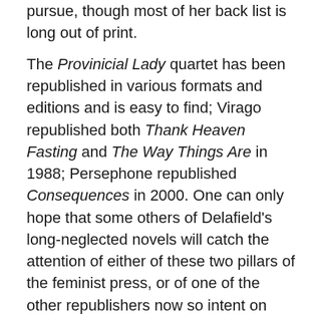pursue, though most of her back list is long out of print.
The Provincial Lady quartet has been republished in various formats and editions and is easy to find; Virago republished both Thank Heaven Fasting and The Way Things Are in 1988; Persephone republished Consequences in 2000. One can only hope that some others of Delafield's long-neglected novels will catch the attention of either of these two pillars of the feminist press, or of one of the other republishers now so intent on mining the rich literary field of the early to mid 20th century. Preservation and distribution is the starting point of so much more, and it's always a good thing to hear from those who walked before us, in their own words. Plus a lot of these old books are darned good reading, adding to the appeal for those of us not so much scholarly as merely